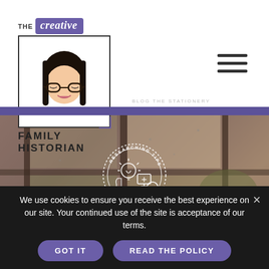[Figure (logo): The Creative Family Historian logo with anime-style girl character with glasses, black hair with bangs, in a square frame. 'THE creative FAMILY HISTORIAN' text.]
[Figure (illustration): Hamburger/navigation menu icon with three horizontal lines]
[Figure (photo): Window with rainy outdoor scene, featuring a circular badge with 'RESEARCHING TIPS' text and lightbulb/magnifying glass icon]
We use cookies to ensure you receive the best experience on our site. Your continued use of the site is acceptance of our terms.
GOT IT
READ THE POLICY